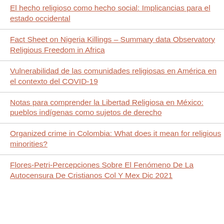El hecho religioso como hecho social: Implicancias para el estado occidental
Fact Sheet on Nigeria Killings – Summary data Observatory Religious Freedom in Africa
Vulnerabilidad de las comunidades religiosas en América en el contexto del COVID-19
Notas para comprender la Libertad Religiosa en México: pueblos indígenas como sujetos de derecho
Organized crime in Colombia: What does it mean for religious minorities?
Flores-Petri-Percepciones Sobre El Fenómeno De La Autocensura De Cristianos Col Y Mex Dic 2021